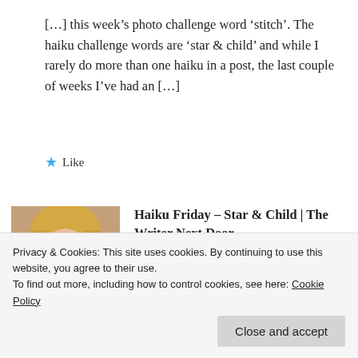[…] this week's photo challenge word 'stitch'. The haiku challenge words are 'star & child' and while I rarely do more than one haiku in a post, the last couple of weeks I've had an […]
★ Like
[Figure (photo): Avatar photo of a young woman with blonde hair]
Haiku Friday – Star & Child | The Writer Next Door
Privacy & Cookies: This site uses cookies. By continuing to use this website, you agree to their use.
To find out more, including how to control cookies, see here: Cookie Policy
Close and accept
Read Ron's Haiku Prompt Challenge